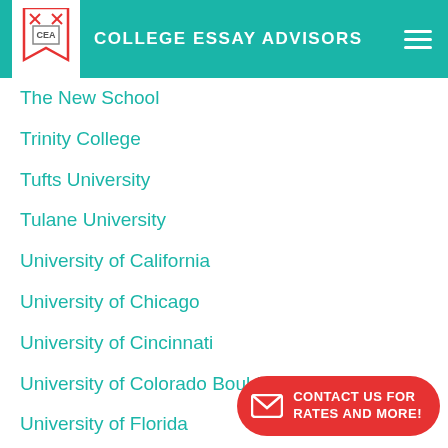COLLEGE ESSAY ADVISORS
The New School
Trinity College
Tufts University
Tulane University
University of California
University of Chicago
University of Cincinnati
University of Colorado Boulder
University of Florida
University of Georgia
University of Illinois Urbana
University of Maryland
University of Massachusetts Amherst
CONTACT US FOR RATES AND MORE!